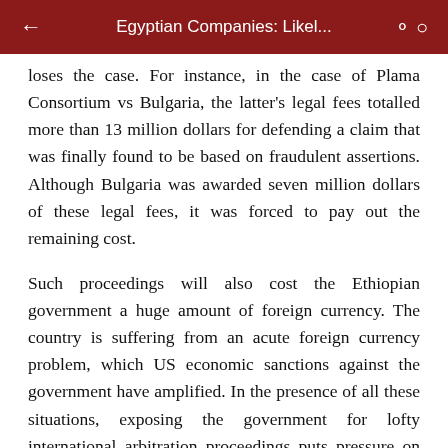Egyptian Companies: Likel...
loses the case. For instance, in the case of Plama Consortium vs Bulgaria, the latter's legal fees totalled more than 13 million dollars for defending a claim that was finally found to be based on fraudulent assertions. Although Bulgaria was awarded seven million dollars of these legal fees, it was forced to pay out the remaining cost.
Such proceedings will also cost the Ethiopian government a huge amount of foreign currency. The country is suffering from an acute foreign currency problem, which US economic sanctions against the government have amplified. In the presence of all these situations, exposing the government for lofty international arbitration proceedings puts pressure on Ethiopia’s already overstretched forex problem. Even if Ethiopia emerged as a victor in these cases, it is highly unlikely the tribunal will order the cost of the